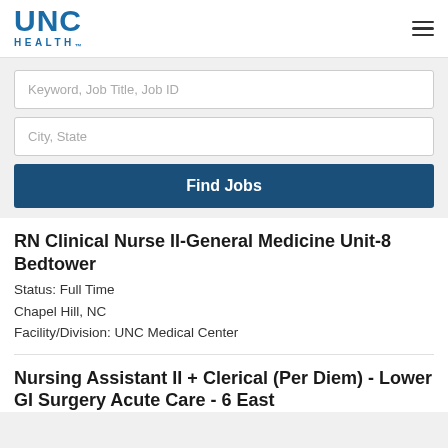[Figure (logo): UNC Health logo with blue text]
Keyword, Job Title, Job ID
City, State
Find Jobs
RN Clinical Nurse II-General Medicine Unit-8 Bedtower
Status: Full Time
Chapel Hill, NC
Facility/Division: UNC Medical Center
Nursing Assistant II + Clerical (Per Diem) - Lower GI Surgery Acute Care - 6 East